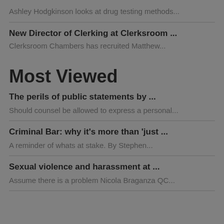Ashley Hodgkinson looks at drug testing methods...
New Director of Clerking at Clerksroom ...
Clerksroom Chambers has recruited Matthew...
Most Viewed
The perils of public statements by ...
Should counsel be allowed to express a personal...
Criminal Bar: why it's more than 'just ...
A reminder of whats at stake. By Stephen...
Sexual violence and harassment at ...
Assume there is a problem Nicola Braganza QC...